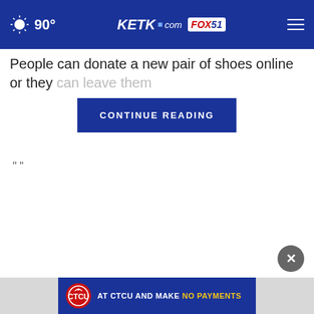90° KETK.com FOX51
People can donate a new pair of shoes online or they can leave them
CONTINUE READING
" "
[Figure (logo): CTCU advertisement banner: AT CTCU AND MAKE NO PAYMENTS]
AT CTCU AND MAKE NO PAYMENTS